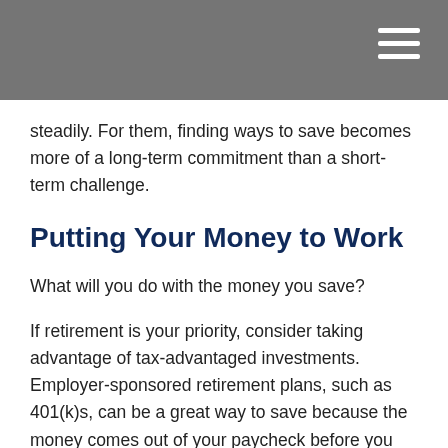steadily. For them, finding ways to save becomes more of a long-term commitment than a short-term challenge.
Putting Your Money to Work
What will you do with the money you save?
If retirement is your priority, consider taking advantage of tax-advantaged investments. Employer-sponsored retirement plans, such as 401(k)s, can be a great way to save because the money comes out of your paycheck before you even see it. Also, as an added incentive, some employers offer to match a percentage of your contributions.²
For money you may want to access before retirement, consider placing the funds in a separate account. When